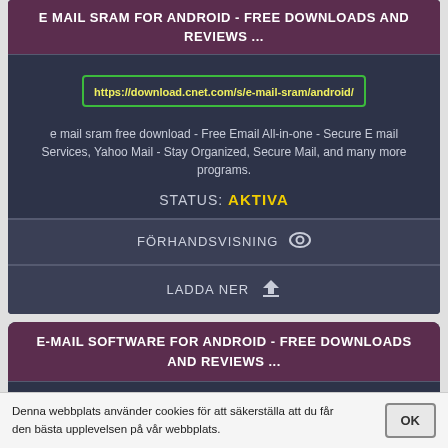E MAIL SRAM FOR ANDROID - FREE DOWNLOADS AND REVIEWS ...
https://download.cnet.com/s/e-mail-sram/android/
e mail sram free download - Free Email All-in-one - Secure E mail Services, Yahoo Mail - Stay Organized, Secure Mail, and many more programs.
STATUS: AKTIVA
FÖRHANDSVISNING
LADDA NER
E-MAIL SOFTWARE FOR ANDROID - FREE DOWNLOADS AND REVIEWS ...
https://download.cnet.com/s/chat-voip-email-clients/android/
Denna webbplats använder cookies för att säkerställa att du får den bästa upplevelsen på vår webbplats.